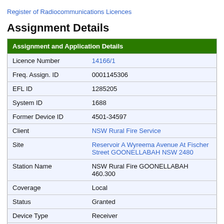Register of Radiocommunications Licences
Assignment Details
| Assignment and Application Details |  |
| --- | --- |
| Licence Number | 14166/1 |
| Freq. Assign. ID | 0001145306 |
| EFL ID | 1285205 |
| System ID | 1688 |
| Former Device ID | 4501-34597 |
| Client | NSW Rural Fire Service |
| Site | Reservoir A Wyreema Avenue At Fischer Street GOONELLABAH NSW 2480 |
| Station Name | NSW Rural Fire GOONELLABAH 460.300 |
| Coverage | Local |
| Status | Granted |
| Device Type | Receiver |
| Date Authorised |  |